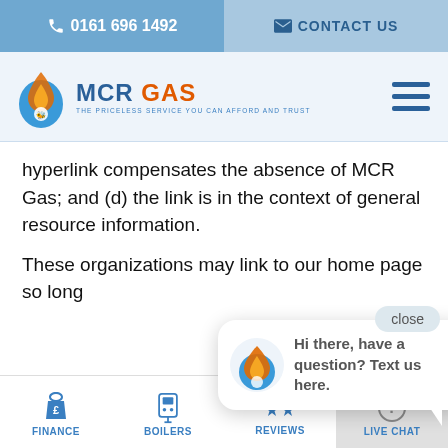0161 696 1492 | CONTACT US
[Figure (logo): MCR Gas logo with flame/water drop icon and tagline 'THE PRICELESS SERVICE YOU CAN AFFORD AND TRUST']
hyperlink compensates the absence of MCR Gas; and (d) the link is in the context of general resource information.
These organizations may link to our home page so long as the link (a) is not in any way deceptive; (b) do...
We use cookies... browsing if you...
[Figure (other): Chat popup bubble with MCR Gas logo and message: Hi there, have a question? Text us here.]
FINANCE | BOILERS | REVIEWS | LIVE CHAT